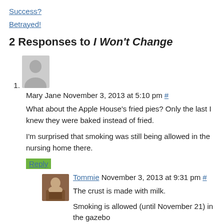Success?
Betrayed!
2 Responses to I Won't Change
[Figure (illustration): Gray placeholder avatar silhouette for commenter Mary Jane]
Mary Jane November 3, 2013 at 5:10 pm #
What about the Apple House's fried pies? Only the last I knew they were baked instead of fried.
I'm surprised that smoking was still being allowed in the nursing home there.
Reply
[Figure (photo): Photo of Tommie, an older woman]
Tommie November 3, 2013 at 9:31 pm #
The crust is made with milk.
Smoking is allowed (until November 21) in the gazebo